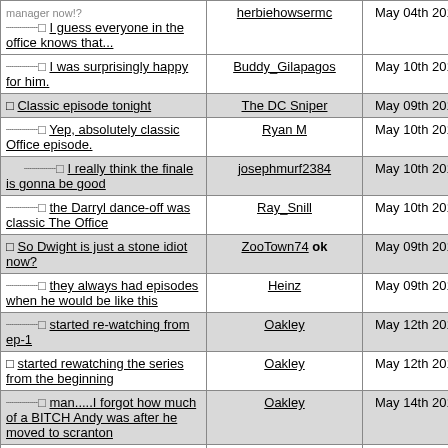| Thread | User | Date | # |
| --- | --- | --- | --- |
| ↳□ I guess everyone in the office knows that... | herbiehowsermc | May 04th 2013 | 46 |
| ↳□ I was surprisingly happy for him. | Buddy_Gilapagos | May 10th 2013 | 50 |
| □ Classic episode tonight | The DC Sniper | May 09th 2013 | 47 |
| ↳□ Yep, absolutely classic Office episode. | Ryan M | May 10th 2013 | 51 |
| ↳↳□ I really think the finale is gonna be good | josephmurf2384 | May 10th 2013 | 52 |
| ↳□ the Darryl dance-off was classic The Office | Ray_Snill | May 10th 2013 | 53 |
| □ So Dwight is just a stone idiot now? | ZooTown74 ok | May 09th 2013 | 48 |
| ↳□ they always had episodes when he would be like this | Heinz | May 09th 2013 | 49 |
| ↳□ started re-watching from ep-1 | Oakley | May 12th 2013 | 54 |
| □ started rewatching the series from the beginning | Oakley | May 12th 2013 | 55 |
| ↳□ man.....I forgot how much of a BITCH Andy was after he moved to scranton | Oakley | May 14th 2013 | 56 |
| ↳↳□ cosign both points | will_5198 | May 14th 2013 | 57 |